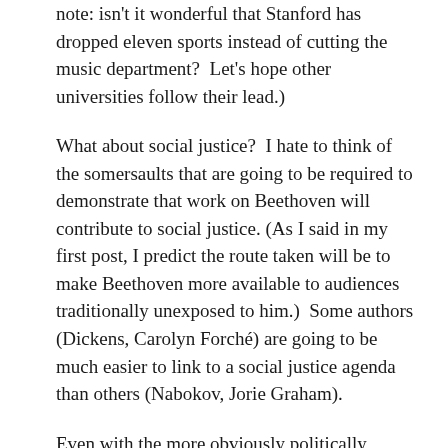note: isn't it wonderful that Stanford has dropped eleven sports instead of cutting the music department?  Let's hope other universities follow their lead.)
What about social justice?  I hate to think of the somersaults that are going to be required to demonstrate that work on Beethoven will contribute to social justice.  (As I said in my first post, I predict the route taken will be to make Beethoven more available to audiences traditionally unexposed to him.)  Some authors (Dickens, Carolyn Forché) are going to be much easier to link to a social justice agenda than others (Nabokov, Jorie Graham).
Even with the more obviously politically relevant authors, I think the rationale is often a subterfuge.  I think of all the work in the past thirty years about Melville's relationship to slavery.  Solid work—but driven, I think,